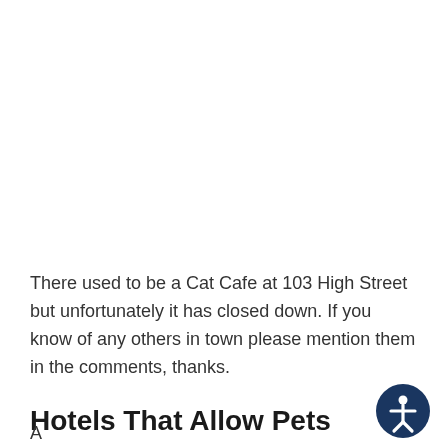There used to be a Cat Cafe at 103 High Street but unfortunately it has closed down. If you know of any others in town please mention them in the comments, thanks.
Hotels That Allow Pets
A... [text continues below]